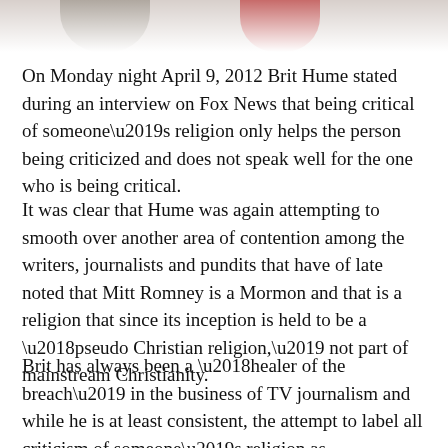[Figure (photo): Partial photo at the top of the page showing two people, cropped — only the lower portions visible against a white/light background.]
On Monday night April 9, 2012 Brit Hume stated during an interview on Fox News that being critical of someone's religion only helps the person being criticized and does not speak well for the one who is being critical.
It was clear that Hume was again attempting to smooth over another area of contention among the writers, journalists and pundits that have of late noted that Mitt Romney is a Mormon and that is a religion that since its inception is held to be a ‘pseudo Christian religion,’ not part of mainstream Christianity.
Brit has always been a ‘healer of the breach’ in the business of TV journalism and while he is at least consistent, the attempt to label all criticism of someone’s religion as ‘bigotry’ falls far short of the truth and if not more thoroughly discerned could also become